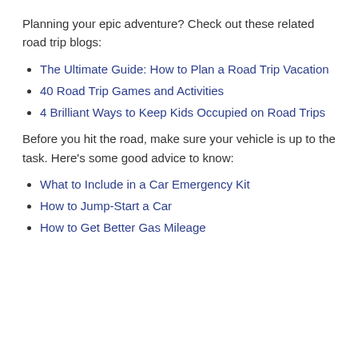Planning your epic adventure? Check out these related road trip blogs:
The Ultimate Guide: How to Plan a Road Trip Vacation
40 Road Trip Games and Activities
4 Brilliant Ways to Keep Kids Occupied on Road Trips
Before you hit the road, make sure your vehicle is up to the task. Here’s some good advice to know:
What to Include in a Car Emergency Kit
How to Jump-Start a Car
How to Get Better Gas Mileage